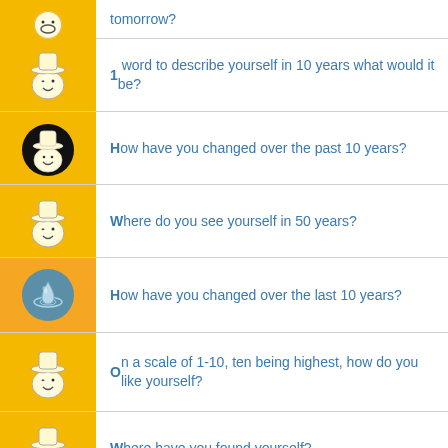tomorrow?
1 word to describe yourself in 10 years what would it be?
How have you changed over the past 10 years?
Where do you see yourself in 50 years?
How have you changed over the last 10 years?
On a scale of 1-10, ten being highest, how do you like yourself?
Where have you found yourself?